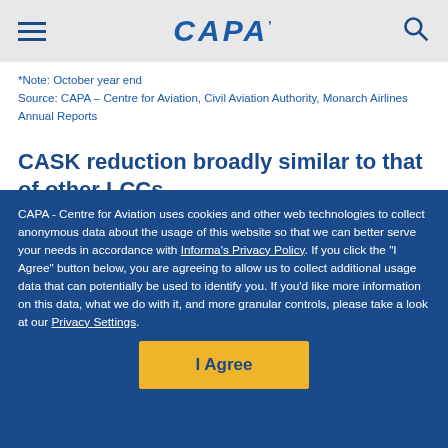CAPA
*Note: October year end
Source: CAPA – Centre for Aviation, Civil Aviation Authority, Monarch Airlines Annual Reports
CASK reduction broadly similar to that of other LCCs
As noted above, Monarch's CASK reduction in FY2015 was
CAPA - Centre for Aviation uses cookies and other web technologies to collect anonymous data about the usage of this website so that we can better serve your needs in accordance with Informa's Privacy Policy. If you click the "I Agree" button below, you are agreeing to allow us to collect additional usage data that can potentially be used to identify you. If you'd like more information on this data, what we do with it, and more granular controls, please take a look at our Privacy Settings.